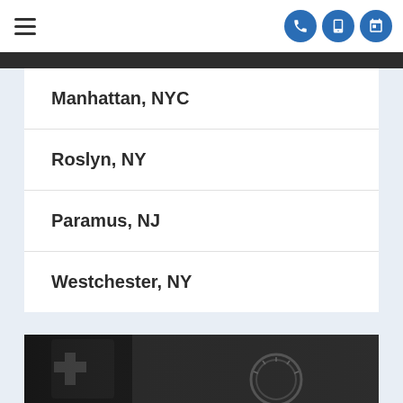Navigation header with hamburger menu and icon buttons
Manhattan, NYC
Roslyn, NY
Paramus, NJ
Westchester, NY
[Figure (photo): Blurred photograph of medical/financial objects including coins or medical instruments at bottom of page]